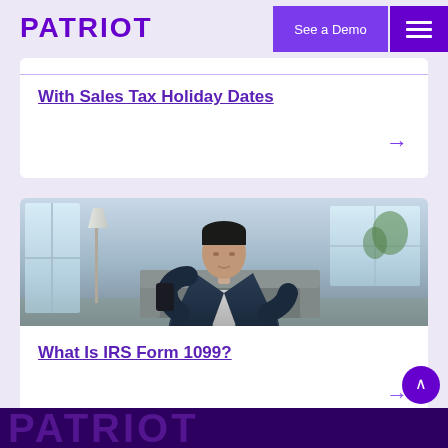[Figure (logo): Patriot software logo in bold purple uppercase text]
See a Demo
With Sales Tax Holiday Dates
[Figure (photo): Asian man in denim jacket looking at smartphone, sitting in modern living room]
What Is IRS Form 1099?
PATRIOT